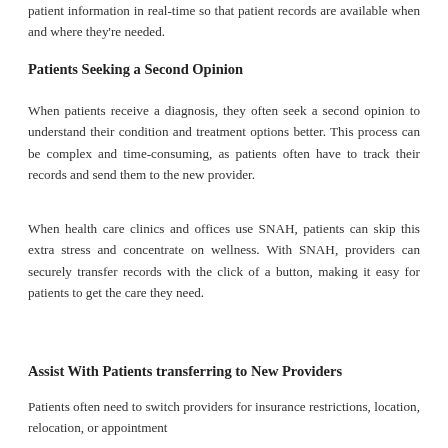patient information in real-time so that patient records are available when and where they're needed.
Patients Seeking a Second Opinion
When patients receive a diagnosis, they often seek a second opinion to understand their condition and treatment options better. This process can be complex and time-consuming, as patients often have to track their records and send them to the new provider.
When health care clinics and offices use SNAH, patients can skip this extra stress and concentrate on wellness. With SNAH, providers can securely transfer records with the click of a button, making it easy for patients to get the care they need.
Assist With Patients transferring to New Providers
Patients often need to switch providers for insurance restrictions, location, relocation, or appointment